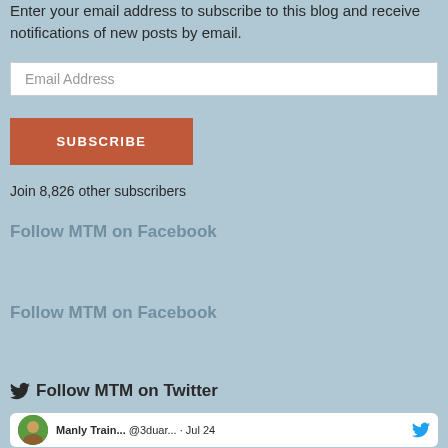Enter your email address to subscribe to this blog and receive notifications of new posts by email.
[Figure (other): Email Address input field (white text box)]
[Figure (other): SUBSCRIBE button (brown/red button with white text)]
Join 8,826 other subscribers
Follow MTM on Facebook
Follow MTM on Facebook
Follow MTM on Twitter
[Figure (other): Tweet card with avatar showing Manly Train... @3duar... · Jul 24 and Twitter bird icon]